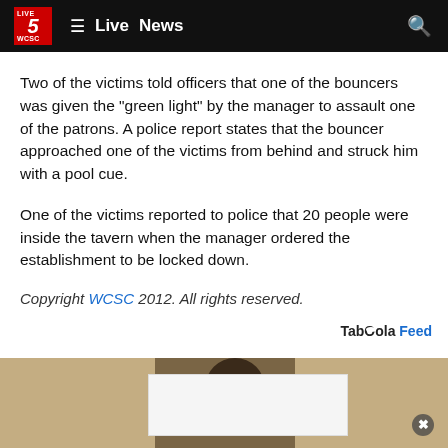Live 5 WCSC — Live News
Two of the victims told officers that one of the bouncers was given the "green light" by the manager to assault one of the patrons. A police report states that the bouncer approached one of the victims from behind and struck him with a pool cue.
One of the victims reported to police that 20 people were inside the tavern when the manager ordered the establishment to be locked down.
Copyright WCSC 2012. All rights reserved.
[Figure (other): Taboola Feed sponsored content section with a partial image of a person at the bottom of the page, and an advertisement overlay]
Taboola Feed